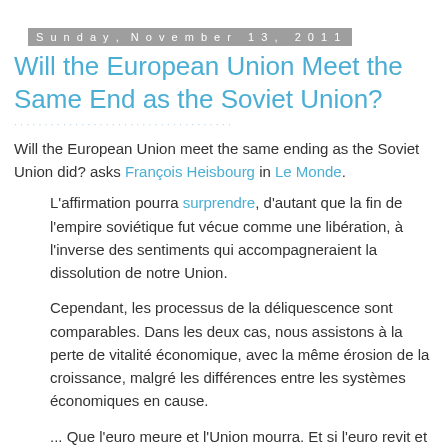Sunday, November 13, 2011
Will the European Union Meet the Same End as the Soviet Union?
Will the European Union meet the same ending as the Soviet Union did? asks François Heisbourg in Le Monde.
L'affirmation pourra surprendre, d'autant que la fin de l'empire soviétique fut vécue comme une libération, à l'inverse des sentiments qui accompagneraient la dissolution de notre Union.
Cependant, les processus de la déliquescence sont comparables. Dans les deux cas, nous assistons à la perte de vitalité économique, avec la même érosion de la croissance, malgré les différences entre les systèmes économiques en cause.
... Que l'euro meure et l'Union mourra. Et si l'euro revit et prospère, l'Union n'est pas assurée